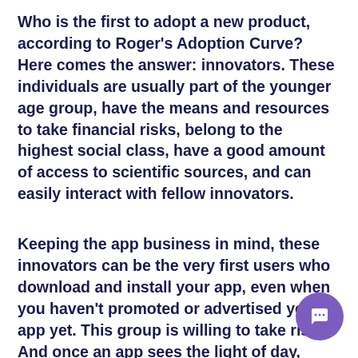Who is the first to adopt a new product, according to Roger's Adoption Curve? Here comes the answer: innovators. These individuals are usually part of the younger age group, have the means and resources to take financial risks, belong to the highest social class, have a good amount of access to scientific sources, and can easily interact with fellow innovators.
Keeping the app business in mind, these innovators can be the very first users who download and install your app, even when you haven't promoted or advertised your app yet. This group is willing to take risks. And once an app sees the light of day, these people will have the most information and product knowledge.